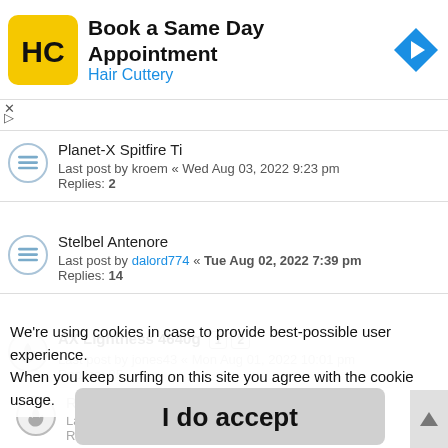[Figure (screenshot): Hair Cuttery advertisement banner with yellow logo, title 'Book a Same Day Appointment', subtitle 'Hair Cuttery', and blue navigation arrow icon]
Planet-X Spitfire Ti
Last post by kroem « Wed Aug 03, 2022 9:23 pm
Replies: 2
Stelbel Antenore
Last post by dalord774 « Tue Aug 02, 2022 7:39 pm
Replies: 14
AX Lightness 4640g [1] [2]
Last post by... Mon Aug 01, 2022 10:01 pm
Replies: 25
We're using cookies in case to provide best-possible user experience. When you keep surfing on this site you agree with the cookie usage.
Ridl...
Last...
Replies: 24
I do accept